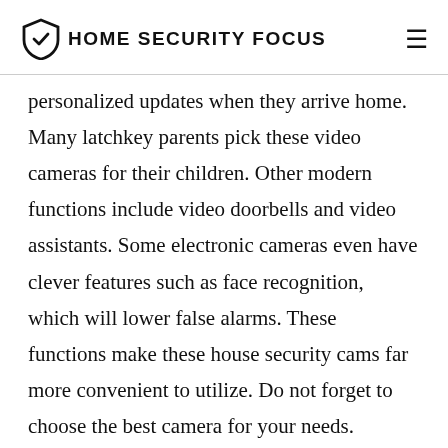HOME SECURITY FOCUS
personalized updates when they arrive home. Many latchkey parents pick these video cameras for their children. Other modern functions include video doorbells and video assistants. Some electronic cameras even have clever features such as face recognition, which will lower false alarms. These functions make these house security cams far more convenient to utilize. Do not forget to choose the best camera for your needs.